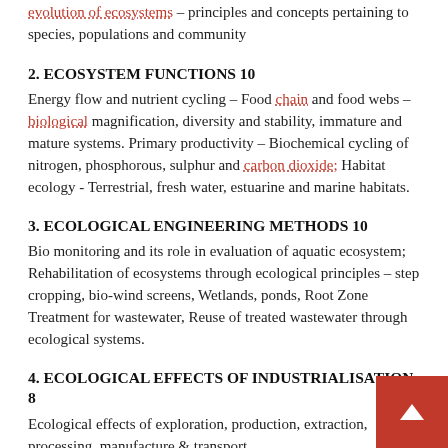evolution of ecosystems – principles and concepts pertaining to species, populations and community
2. ECOSYSTEM FUNCTIONS 10
Energy flow and nutrient cycling – Food chain and food webs – biological magnification, diversity and stability, immature and mature systems. Primary productivity – Biochemical cycling of nitrogen, phosphorous, sulphur and carbon dioxide; Habitat ecology - Terrestrial, fresh water, estuarine and marine habitats.
3. ECOLOGICAL ENGINEERING METHODS 10
Bio monitoring and its role in evaluation of aquatic ecosystem; Rehabilitation of ecosystems through ecological principles – step cropping, bio-wind screens, Wetlands, ponds, Root Zone Treatment for wastewater, Reuse of treated wastewater through ecological systems.
4. ECOLOGICAL EFFECTS OF INDUSTRIALISATION 8
Ecological effects of exploration, production, extraction, processing, manufacture & transport.